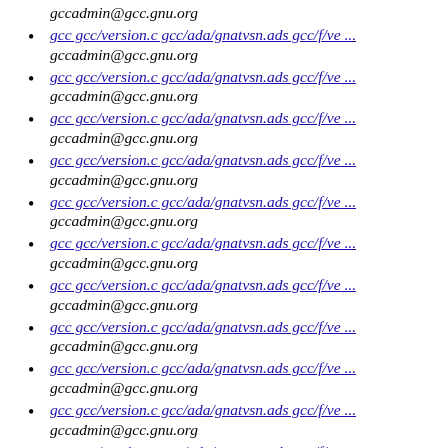gccadmin@gcc.gnu.org
gcc gcc/version.c gcc/ada/gnatvsn.ads gcc/f/ve ...
gccadmin@gcc.gnu.org
gcc gcc/version.c gcc/ada/gnatvsn.ads gcc/f/ve ...
gccadmin@gcc.gnu.org
gcc gcc/version.c gcc/ada/gnatvsn.ads gcc/f/ve ...
gccadmin@gcc.gnu.org
gcc gcc/version.c gcc/ada/gnatvsn.ads gcc/f/ve ...
gccadmin@gcc.gnu.org
gcc gcc/version.c gcc/ada/gnatvsn.ads gcc/f/ve ...
gccadmin@gcc.gnu.org
gcc gcc/version.c gcc/ada/gnatvsn.ads gcc/f/ve ...
gccadmin@gcc.gnu.org
gcc gcc/version.c gcc/ada/gnatvsn.ads gcc/f/ve ...
gccadmin@gcc.gnu.org
gcc gcc/version.c gcc/ada/gnatvsn.ads gcc/f/ve ...
gccadmin@gcc.gnu.org
gcc gcc/version.c gcc/ada/gnatvsn.ads gcc/f/ve ...
gccadmin@gcc.gnu.org
gcc gcc/version.c gcc/ada/gnatvsn.ads gcc/f/ve ...
gccadmin@gcc.gnu.org
gcc gcc/version.c gcc/ada/gnatvsn.ads gcc/f/ve ...
gccadmin@gcc.gnu.org
gcc gcc/version.c gcc/ada/gnatvsn.ads gcc/f/ve ...
gccadmin@gcc.gnu.org